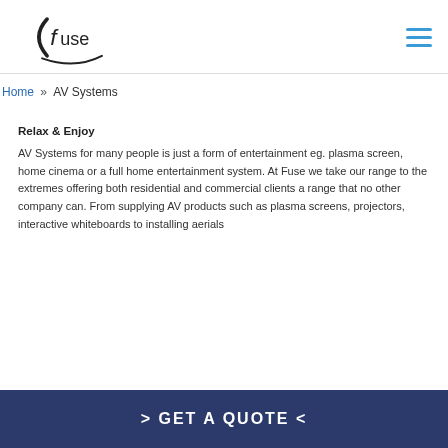[Figure (logo): Fuse company logo with stylized parenthesis and swoosh underline]
Home » AV Systems
Relax & Enjoy
AV Systems for many people is just a form of entertainment eg. plasma screen, home cinema or a full home entertainment system. At Fuse we take our range to the extremes offering both residential and commercial clients a range that no other company can. From supplying AV products such as plasma screens, projectors, interactive whiteboards to installing aerials…
> GET A QUOTE <